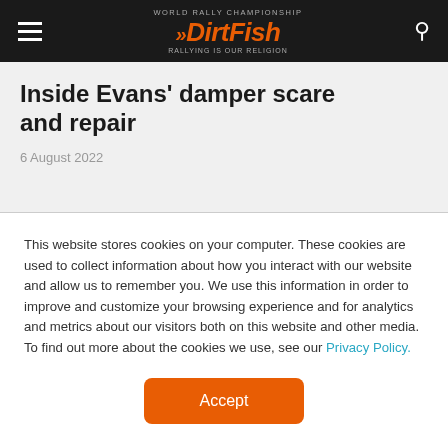DirtFish
Inside Evans' damper scare and repair
6 August 2022
This website stores cookies on your computer. These cookies are used to collect information about how you interact with our website and allow us to remember you. We use this information in order to improve and customize your browsing experience and for analytics and metrics about our visitors both on this website and other media. To find out more about the cookies we use, see our Privacy Policy.